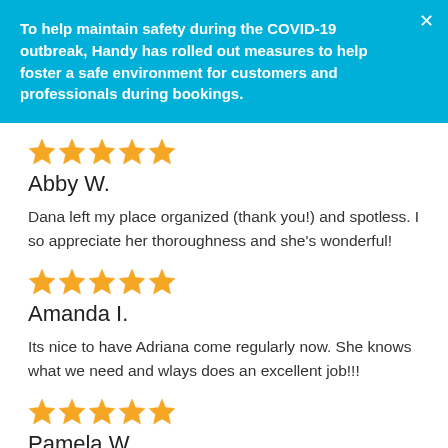To help maintain safety during the COVID-19 outbreak, Handy has rolled out measures to help foster a safe environment for customers and professionals during bookings.
[Figure (other): Five gold star rating icons]
Abby W.
Dana left my place organized (thank you!) and spotless. I so appreciate her thoroughness and she's wonderful!
[Figure (other): Five gold star rating icons]
Amanda I.
Its nice to have Adriana come regularly now. She knows what we need and wlays does an excellent job!!!
[Figure (other): Five gold star rating icons]
Pamela W.